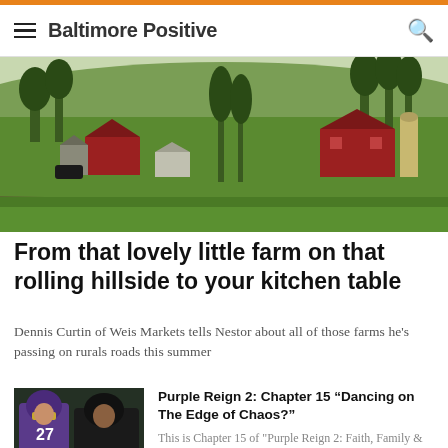Baltimore Positive
[Figure (photo): Rural farm scene with red barns on a rolling green hillside with trees and a silo in the background]
From that lovely little farm on that rolling hillside to your kitchen table
Dennis Curtin of Weis Markets tells Nestor about all of those farms he's passing on rurals roads this summer
[Figure (photo): Two Baltimore Ravens football players, one wearing number 27, on the sideline]
Purple Reign 2: Chapter 15 “Dancing on The Edge of Chaos?”
This is Chapter 15 of "Purple Reign 2: Faith, Family & Football – A Baltimore Love Story." Author Nestor Aparicio is releasing it chapter by chapter daily to celebrate the